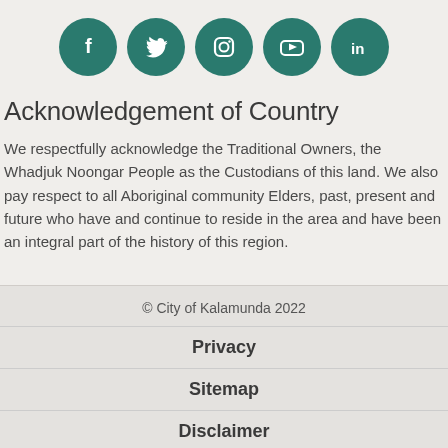[Figure (other): Row of five social media icons (Facebook, Twitter, Instagram, YouTube, LinkedIn) as white icons on dark teal circular backgrounds]
Acknowledgement of Country
We respectfully acknowledge the Traditional Owners, the Whadjuk Noongar People as the Custodians of this land. We also pay respect to all Aboriginal community Elders, past, present and future who have and continue to reside in the area and have been an integral part of the history of this region.
© City of Kalamunda 2022
Privacy
Sitemap
Disclaimer